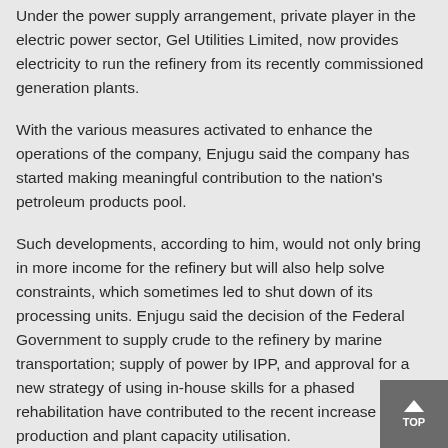Under the power supply arrangement, private player in the electric power sector, Gel Utilities Limited, now provides electricity to run the refinery from its recently commissioned generation plants.
With the various measures activated to enhance the operations of the company, Enjugu said the company has started making meaningful contribution to the nation's petroleum products pool.
Such developments, according to him, would not only bring in more income for the refinery but will also help solve constraints, which sometimes led to shut down of its processing units. Enjugu said the decision of the Federal Government to supply crude to the refinery by marine transportation; supply of power by IPP, and approval for a new strategy of using in-house skills for a phased rehabilitation have contributed to the recent increase in production and plant capacity utilisation.
He disclosed that the Nigerian National Petroleum Corporation (NNPC) resorted to the new strategy of phased rehabilitation using in-house staff and local capacities when the Original Refinery Builders (ORB), the JGC